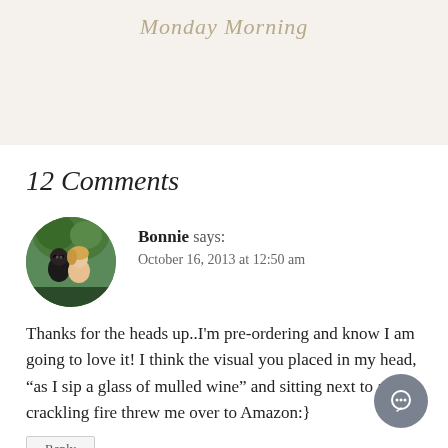Monday Morning
12 Comments
Bonnie says:
October 16, 2013 at 12:50 am
Thanks for the heads up..I'm pre-ordering and know I am going to love it! I think the visual you placed in my head, “as I sip a glass of mulled wine” and sitting next to a crackling fire threw me over to Amazon:}